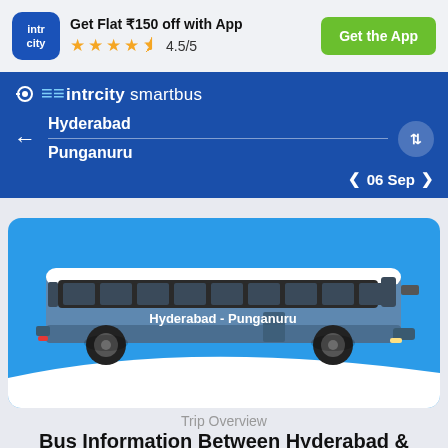Get Flat ₹150 off with App
★★★★½ 4.5/5
Get the App
intrcity smartbus
Hyderabad
Punganuru
06 Sep
[Figure (illustration): Side view illustration of a modern intercity bus with steel blue and white colors, labeled 'Hyderabad - Punganuru' on the side, shown on a bright blue background with a white wave cutout at the bottom.]
Trip Overview
Bus Information Between Hyderabad &